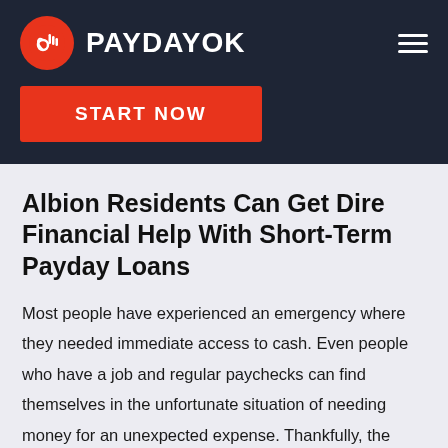[Figure (logo): PaydayOK logo: red circle with white OK hand gesture icon, followed by bold white text PAYDAYOK on dark navy background]
START NOW
Albion Residents Can Get Dire Financial Help With Short-Term Payday Loans
Most people have experienced an emergency where they needed immediate access to cash. Even people who have a job and regular paychecks can find themselves in the unfortunate situation of needing money for an unexpected expense. Thankfully, the payday loan industry exists to help individuals out when